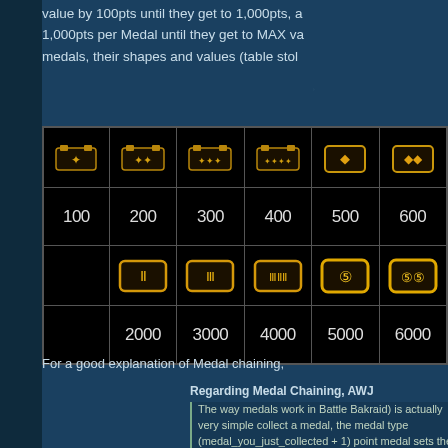value by 100pts until they get to 1,000pts, a 1,000pts per Medal until they get to MAX va medals, their shapes and values (table stol
[Figure (table-as-image): Table of medal icons in two rows. Row 1: 6 small gold medal icons. Row 2: values 100, 200, 300, 400, 500, 600. Row 3: 5 larger gold medal icons (second column onward). Row 4: values 2000, 3000, 4000, 5000, 6000]
For a good explanation of Medal chaining,
Regarding Medal Chaining, AWJ
The way medals work in Battle Bakraid) is actually very simple collect a medal, the medal type (medal_you_just_collected + 1) point medal sets the medal typ medal drops off the screen, the type (100 points). The value of instant it is created.

The upshot is, you can let a me as long as (a) there is still anot (b) you don't create any more m medal. Why? If you create ano